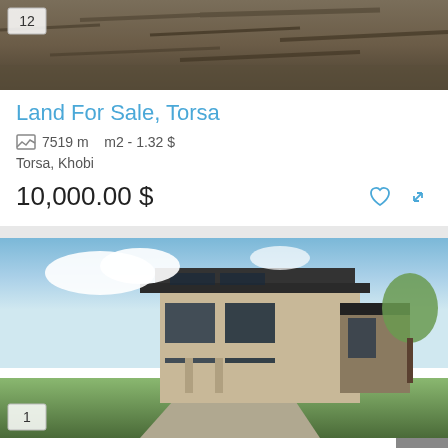[Figure (photo): Land photo showing rocky/woody terrain, top portion visible, with photo count badge showing 12]
Land For Sale, Torsa
7519 m  m2 - 1.32 $
Torsa, Khobi
10,000.00 $
[Figure (photo): Modern house for sale exterior render with dark roof, large windows, green surroundings, photo count badge showing 1]
House For Sale, Tskneti